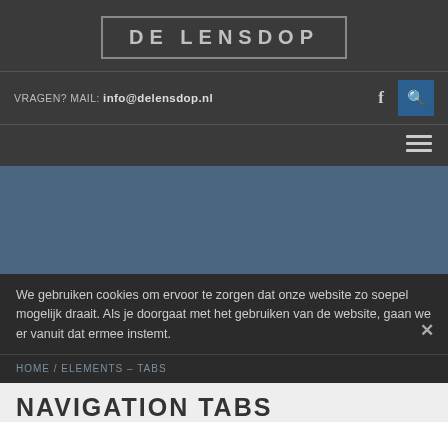[Figure (logo): De Lensdop logo — text in a bordered box, dark background]
VRAGEN? MAIL: info@delensdop.nl
[Figure (illustration): Blue/slate hero banner area]
We gebruiken cookies om ervoor te zorgen dat onze website zo soepel mogelijk draait. Als je doorgaat met het gebruiken van de website, gaan we er vanuit dat ermee instemt.
HOME / ELEMENTS – TABS
NAVIGATION TABS